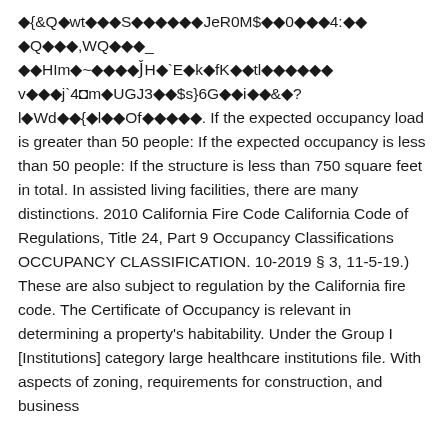◆{&Q◆wt◆◆◆S◆◆◆◆◆◆JeR0M$◆◆0◆◆◆4:◆◆◆Q◆◆◆,WQ◆◆◆_ ◆◆HIm◆~◆◆◆◆J̌H◆`E◆k◆fK◆◆tl◆◆◆◆◆◆v◆◆◆j`4◘m◆UGJ3◆◆$s}6G◆◆i◆◆&◆? l◆Wd◆◆{◆l◆◆Of◆◆◆◆◆. If the expected occupancy load is greater than 50 people: If the expected occupancy is less than 50 people: If the structure is less than 750 square feet in total. In assisted living facilities, there are many distinctions. 2010 California Fire Code California Code of Regulations, Title 24, Part 9 Occupancy Classifications OCCUPANCY CLASSIFICATION. 10-2019 § 3, 11-5-19.) These are also subject to regulation by the California fire code. The Certificate of Occupancy is relevant in determining a property's habitability. Under the Group I [Institutions] category large healthcare institutions file. With aspects of zoning, requirements for construction, and business